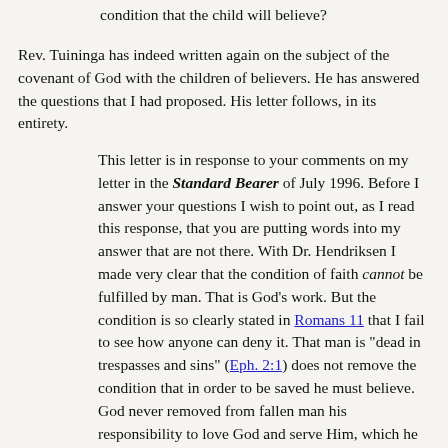condition that the child will believe?
Rev. Tuininga has indeed written again on the subject of the covenant of God with the children of believers. He has answered the questions that I had proposed. His letter follows, in its entirety.
This letter is in response to your comments on my letter in the Standard Bearer of July 1996. Before I answer your questions I wish to point out, as I read this response, that you are putting words into my answer that are not there. With Dr. Hendriksen I made very clear that the condition of faith cannot be fulfilled by man. That is God's work. But the condition is so clearly stated in Romans 11 that I fail to see how anyone can deny it. That man is "dead in trespasses and sins" (Eph. 2:1) does not remove the condition that in order to be saved he must believe. God never removed from fallen man his responsibility to love God and serve Him, which he can do only by faith, a faith that